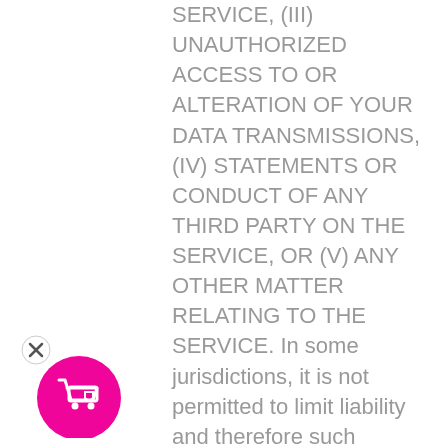SERVICE, (III) UNAUTHORIZED ACCESS TO OR ALTERATION OF YOUR DATA TRANSMISSIONS, (IV) STATEMENTS OR CONDUCT OF ANY THIRD PARTY ON THE SERVICE, OR (V) ANY OTHER MATTER RELATING TO THE SERVICE. In some jurisdictions, it is not permitted to limit liability and therefore such limitations may not apply to you.
11. Reservation of Rights. We reserve all of our rights, including but not limited to any and all copyrights, trademarks, patents, trade secrets, and any other proprietary right that we may have in our web site, its content, and the goods and services that may be provided. The use of our rights and property requires our prior written consent. We are not providing you
[Figure (illustration): Pink circular shopping cart button with a white cart icon and a close (X) button in the upper left]